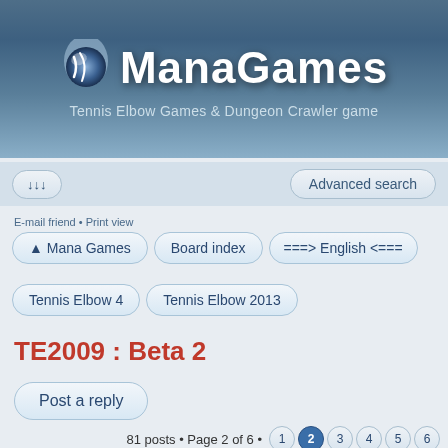[Figure (logo): ManaGames logo with flame icon and text. Tagline: Tennis Elbow Games & Dungeon Crawler game]
↓↓↓   Advanced search
E-mail friend • Print view
▲ Mana Games   Board index   ===> English <===
Tennis Elbow 4   Tennis Elbow 2013
TE2009 : Beta 2
Post a reply
81 posts • Page 2 of 6 • 1 2 3 4 5 6
Online Play